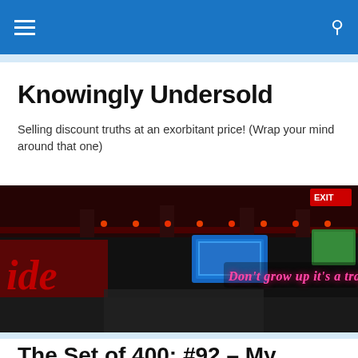Knowingly Undersold - navigation header
Knowingly Undersold
Selling discount truths at an exorbitant price! (Wrap your mind around that one)
[Figure (photo): Interior bar/venue photo with neon sign reading 'Don't grow up it's a trap', with a blue TV screen and red lighting visible on the ceiling]
The Set of 400: #92 – My Favorite Jazz Flute
Today! Because the Human Torch was denied a bank loan –